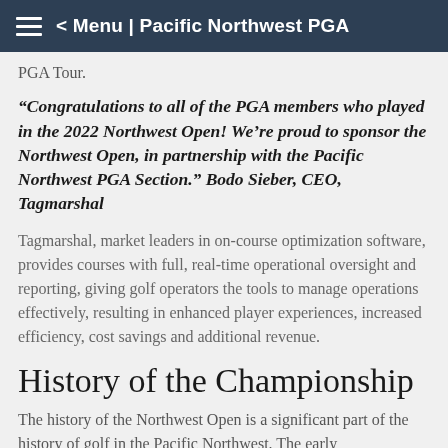< Menu | Pacific Northwest PGA
PGA Tour.
“Congratulations to all of the PGA members who played in the 2022 Northwest Open! We’re proud to sponsor the Northwest Open, in partnership with the Pacific Northwest PGA Section.” Bodo Sieber, CEO, Tagmarshal
Tagmarshal, market leaders in on-course optimization software, provides courses with full, real-time operational oversight and reporting, giving golf operators the tools to manage operations effectively, resulting in enhanced player experiences, increased efficiency, cost savings and additional revenue.
History of the Championship
The history of the Northwest Open is a significant part of the history of golf in the Pacific Northwest. The early